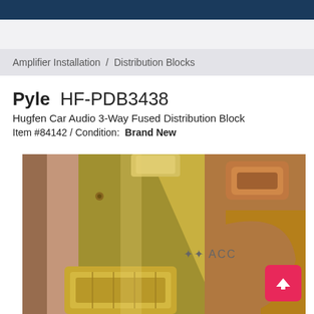Amplifier Installation  /  Distribution Blocks
Pyle HF-PDB3438
Hugfen Car Audio 3-Way Fused Distribution Block
Item #84142 / Condition:  Brand New
[Figure (photo): Close-up photo of a gold/brass colored car audio 3-way fused distribution block (HF-PDB3438), showing the metallic surface with 'ACC' text and connector terminals visible.]